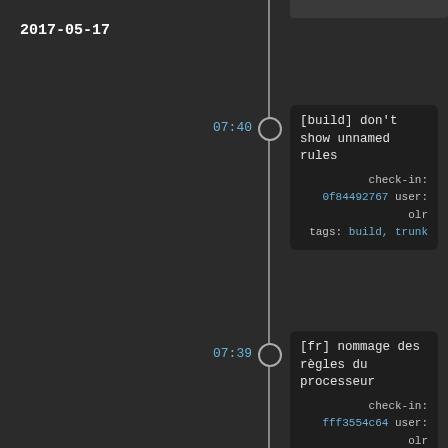2017-05-17
07:40 — [build] don't show unnamed rules
check-in: 0f84492767 user: olr
tags: build, trunk
07:39 — [fr] nommage des règles du processeur
check-in: fff3554c64 user: olr
tags: fr, trunk
07:28 — [fr] nommage des règles du processeur
check-in: c4772fd7bc user: olr
tags: fr, trunk
07:21 — [fr] pt: pseudo
check-in: 0bf8b23669 user: olr
tags: fr, trunk